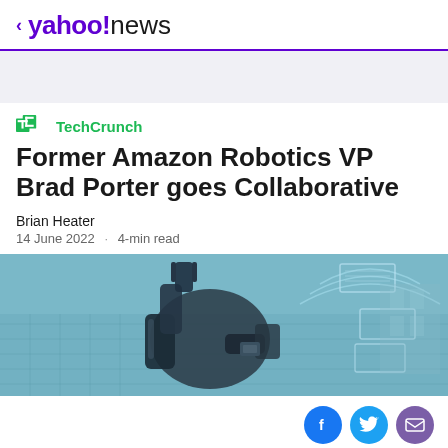< yahoo!news
[Figure (logo): TechCrunch logo with green TC icon and green TechCrunch text]
Former Amazon Robotics VP Brad Porter goes Collaborative
Brian Heater
14 June 2022 · 4-min read
[Figure (photo): Blue-tinted photo of a robotic arm with digital overlay graphics in a warehouse or industrial setting]
[Figure (other): Social sharing buttons: Facebook (blue circle with f), Twitter (light blue circle with bird), Email (purple circle with envelope)]